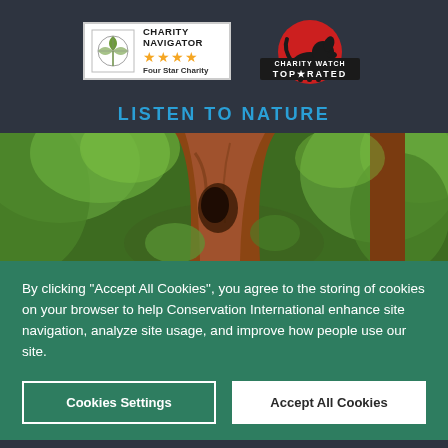[Figure (logo): Charity Navigator Four Star Charity badge with compass/leaf logo and four gold stars]
[Figure (logo): Charity Watch Top Rated badge with dog silhouette on red circle]
LISTEN TO NATURE
[Figure (photo): Photograph of a large ancient tree trunk in a lush green forest]
By clicking “Accept All Cookies”, you agree to the storing of cookies on your browser to help Conservation International enhance site navigation, analyze site usage, and improve how people use our site.
Cookies Settings
Accept All Cookies